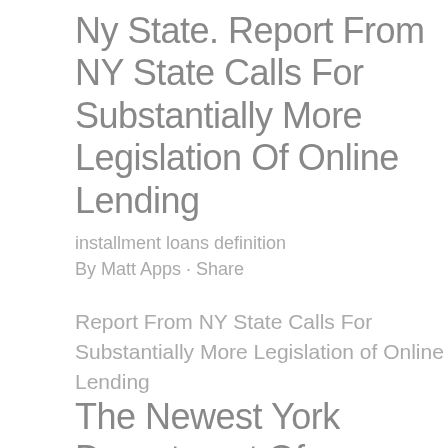Ny State. Report From NY State Calls For Substantially More Legislation Of Online Lending
installment loans definition
By Matt Apps · Share
Report From NY State Calls For Substantially More Legislation of Online Lending
The Newest York Department Of